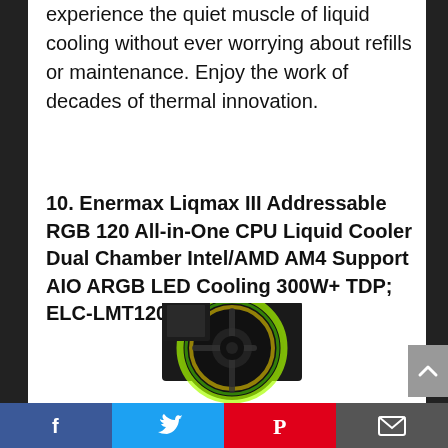experience the quiet muscle of liquid cooling without ever worrying about refills or maintenance. Enjoy the work of decades of thermal innovation.
10. Enermax Liqmax III Addressable RGB 120 All-in-One CPU Liquid Cooler Dual Chamber Intel/AMD AM4 Support AIO ARGB LED Cooling 300W+ TDP; ELC-LMT120-ARGB
[Figure (photo): Photo of the Enermax Liqmax III AIO CPU cooler, showing a black square pump head with a green/yellow ARGB LED fan, partially cropped at the bottom of the page.]
Social share bar with Facebook, Twitter, Pinterest, and Email buttons